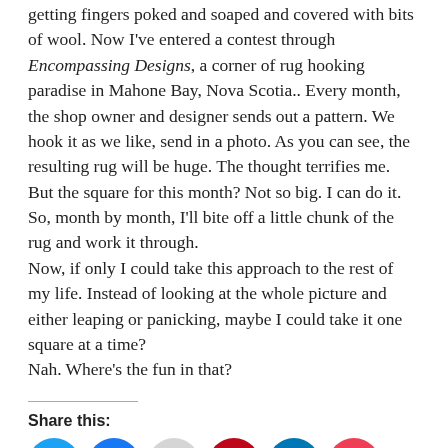getting fingers poked and soaped and covered with bits of wool. Now I've entered a contest through Encompassing Designs, a corner of rug hooking paradise in Mahone Bay, Nova Scotia.. Every month, the shop owner and designer sends out a pattern. We hook it as we like, send in a photo. As you can see, the resulting rug will be huge. The thought terrifies me.
But the square for this month? Not so big. I can do it.
So, month by month, I'll bite off a little chunk of the rug and work it through.
Now, if only I could take this approach to the rest of my life. Instead of looking at the whole picture and either leaping or panicking, maybe I could take it one square at a time?
Nah. Where's the fun in that?
Share this: